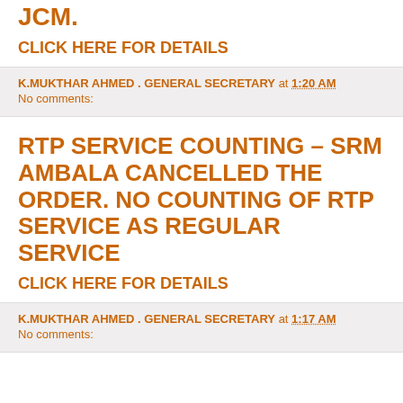JCM.
CLICK HERE FOR DETAILS
K.MUKTHAR AHMED . GENERAL SECRETARY at 1:20 AM
No comments:
RTP SERVICE COUNTING – SRM AMBALA CANCELLED THE ORDER. NO COUNTING OF RTP SERVICE AS REGULAR SERVICE
CLICK HERE FOR DETAILS
K.MUKTHAR AHMED . GENERAL SECRETARY at 1:17 AM
No comments: